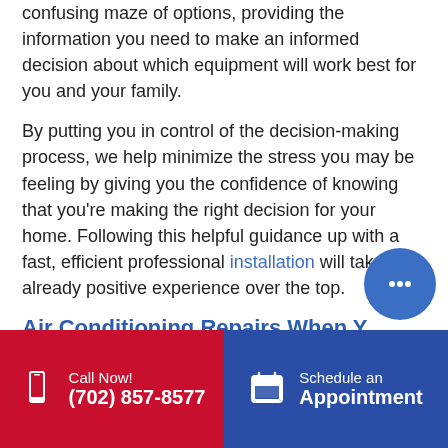confusing maze of options, providing the information you need to make an informed decision about which equipment will work best for you and your family.
By putting you in control of the decision-making process, we help minimize the stress you may be feeling by giving you the confidence of knowing that you're making the right decision for your home. Following this helpful guidance up with a fast, efficient professional installation will take an already positive experience over the top.
Air Conditioning Repairs When Y… Need Them…
Call Now! (702) 857-8577 | Schedule an Appointment